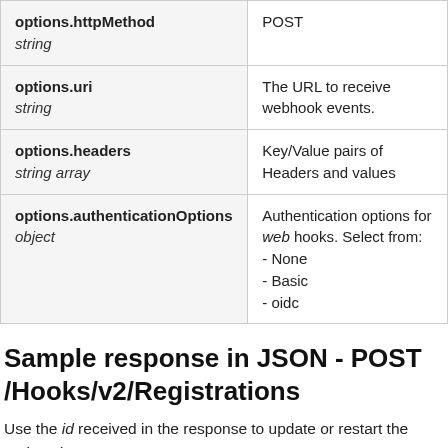| Parameter | Description |
| --- | --- |
| options.httpMethod
string | POST |
| options.uri
string | The URL to receive webhook events. |
| options.headers
string array | Key/Value pairs of Headers and values |
| options.authenticationOptions
object | Authentication options for web hooks. Select from:
- None
- Basic
- oidc |
Sample response in JSON - POST /Hooks/v2/Registrations
Use the id received in the response to update or restart the registration.